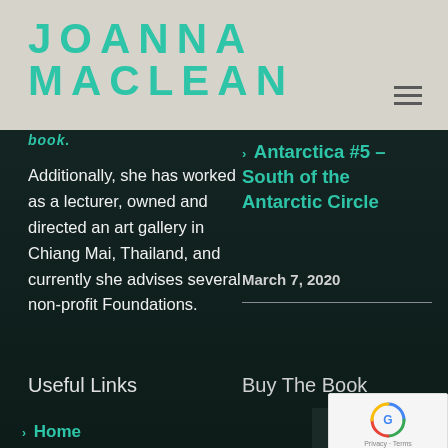JOANNA MACLEAN
book.
Additionally, she has worked as a lecturer, owned and directed an art gallery in Chiang Mai, Thailand, and currently she advises several non-profit Foundations.
Antarctica #5 – South of the Antarctic Circle
March 7, 2020
Useful Links
> Home
Buy The Book
[Figure (screenshot): Book cover thumbnail showing 'TWO EGGS' text at bottom, dark toned image]
[Figure (other): reCAPTCHA badge with spinning circular logo, Privacy and Terms links]